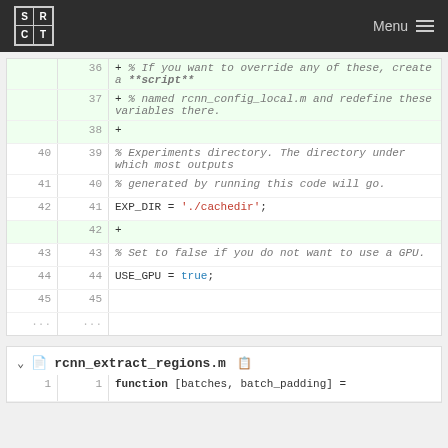SRCT Menu
[Figure (screenshot): Code diff view showing lines 36-45 of a MATLAB config file. Added lines (green background) include comments about overriding variables by creating rcnn_config_local.m script. Normal lines show: EXP_DIR = './cachedir'; USE_GPU = true;]
rcnn_extract_regions.m
function [batches, batch_padding] =